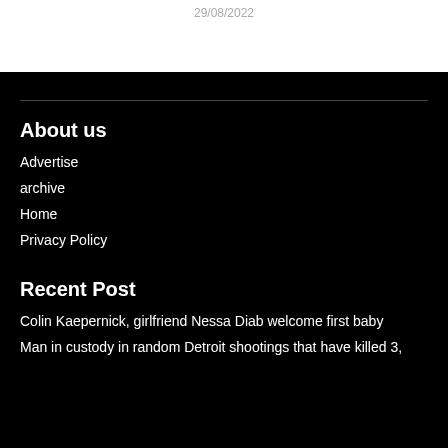29/08/2022
About us
Advertise
archive
Home
Privacy Policy
Recent Post
Colin Kaepernick, girlfriend Nessa Diab welcome first baby
Man in custody in random Detroit shootings that have killed 3,